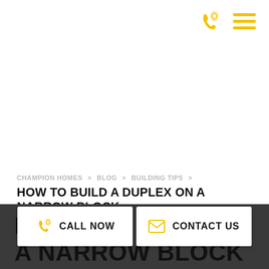Champion Homes — navigation icons (phone, menu)
CHAMPION HOMES > BLOG > BUILDING TIPS >
HOW TO BUILD A DUPLEX ON A NARROW BLOCK
Building Tips, Homes
How to build a duplex on a narrow block
CALL NOW
CONTACT US